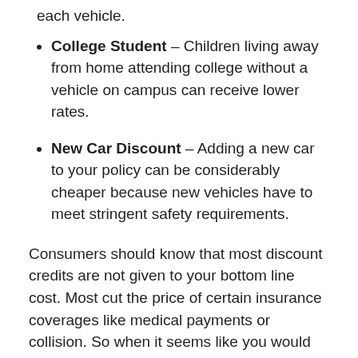each vehicle.
College Student – Children living away from home attending college without a vehicle on campus can receive lower rates.
New Car Discount – Adding a new car to your policy can be considerably cheaper because new vehicles have to meet stringent safety requirements.
Consumers should know that most discount credits are not given to your bottom line cost. Most cut the price of certain insurance coverages like medical payments or collision. So when it seems like you would end up receiving a 100% discount, insurance companies aren't that generous.